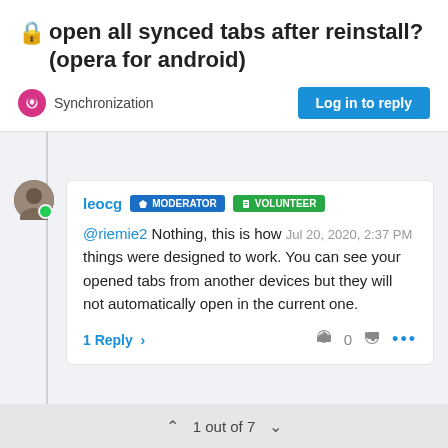🔒 open all synced tabs after reinstall? (opera for android)
Synchronization
Log in to reply
leocg  MODERATOR  VOLUNTEER
@riemie2 Nothing, this is how Jul 20, 2020, 2:37 PM things were designed to work. You can see your opened tabs from another devices but they will not automatically open in the current one.
1 Reply >  0  ...
1 out of 7